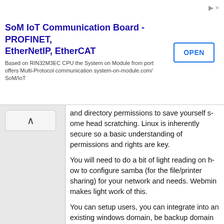[Figure (other): Advertisement banner for SoM IoT Communication Board - PROFINET, EtherNetIP, EtherCAT. Based on RIN32M3EC CPU the System on Module from port offers Multi-Protocol communication system-on-module.com/SoM/IoT. OPEN button shown.]
and directory permissions to save yourself some head scratching. Linux is inherently secure so a basic understanding of permissions and rights are key.
You will need to do a bit of light reading on how to configure samba (for the file/printer sharing) for your network and needs. Webmin makes light work of this.
You can setup users, you can integrate into an existing windows domain, be backup domain controller etc.

You will need to create some shares. I use the /media/ directory for all my data shares. The Users all have their own home directories created automatically under /home/username. You can share these using samba just like any other share with access control etc.